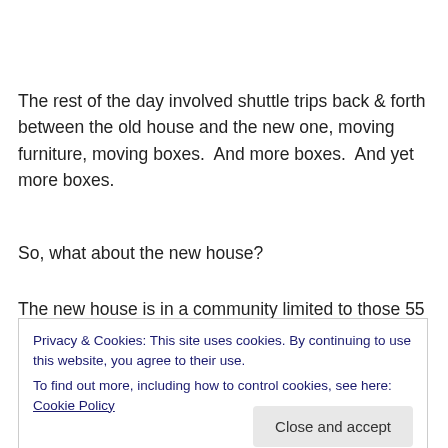The rest of the day involved shuttle trips back & forth between the old house and the new one, moving furniture, moving boxes.  And more boxes.  And yet more boxes.
So, what about the new house?
The new house is in a community limited to those 55 and older, though it's not, technically, a retirement community.
Privacy & Cookies: This site uses cookies. By continuing to use this website, you agree to their use.
To find out more, including how to control cookies, see here: Cookie Policy
Close and accept
It's a newer house, better insulation, new appliances,